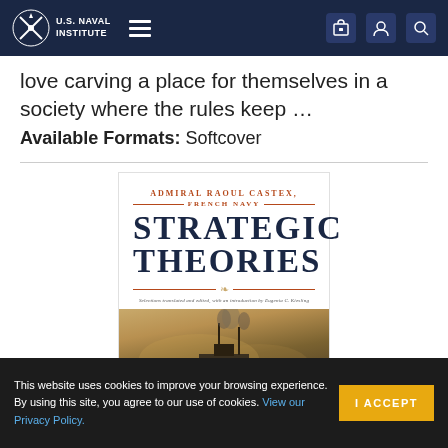U.S. Naval Institute
love carving a place for themselves in a society where the rules keep …
Available Formats: Softcover
[Figure (illustration): Book cover for 'Strategic Theories' by Admiral Raoul Castex, French Navy. White top section with red/brown author name and title text in dark navy large serif font, decorative ornament line, italic subtitle. Bottom section shows a painting of a naval ship with smoke.]
This website uses cookies to improve your browsing experience. By using this site, you agree to our use of cookies. View our Privacy Policy.